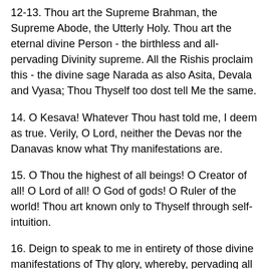12-13. Thou art the Supreme Brahman, the Supreme Abode, the Utterly Holy. Thou art the eternal divine Person - the birthless and all-pervading Divinity supreme. All the Rishis proclaim this - the divine sage Narada as also Asita, Devala and Vyasa; Thou Thyself too dost tell Me the same.
14. O Kesava! Whatever Thou hast told me, I deem as true. Verily, O Lord, neither the Devas nor the Danavas know what Thy manifestations are.
15. O Thou the highest of all beings! O Creator of all! O Lord of all! O God of gods! O Ruler of the world! Thou art known only to Thyself through self-intuition.
16. Deign to speak to me in entirety of those divine manifestations of Thy glory, whereby, pervading all these worlds. Thou abidest in them and beyond.
17. How am I to know Thee, O Yogin, through constant